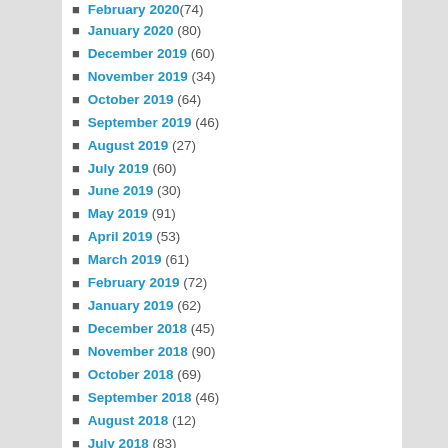January 2020 (80)
December 2019 (60)
November 2019 (34)
October 2019 (64)
September 2019 (46)
August 2019 (27)
July 2019 (60)
June 2019 (30)
May 2019 (91)
April 2019 (53)
March 2019 (61)
February 2019 (72)
January 2019 (62)
December 2018 (45)
November 2018 (90)
October 2018 (69)
September 2018 (46)
August 2018 (12)
July 2018 (83)
June 2018 (69)
May 2018 (85)